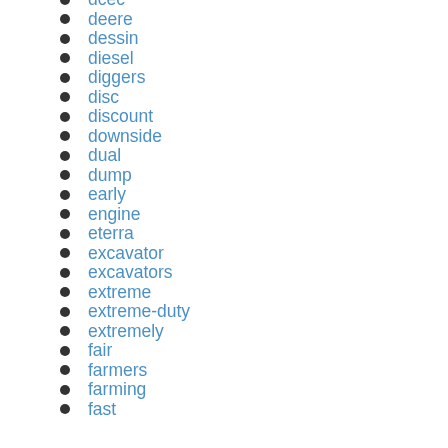dcec
deere
dessin
diesel
diggers
disc
discount
downside
dual
dump
early
engine
eterra
excavator
excavators
extreme
extreme-duty
extremely
fair
farmers
farming
fast